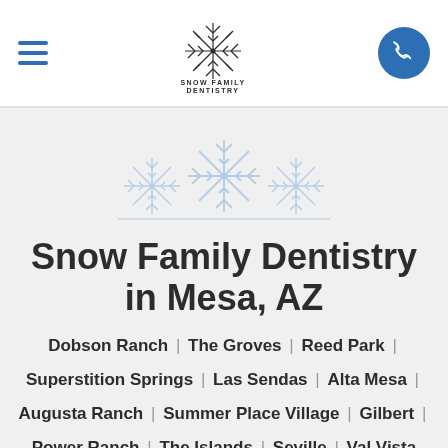Snow Family Dentistry — header with hamburger menu, logo, and phone button
[Figure (logo): Snow Family Dentistry snowflake logo with text SNOW FAMILY DENTISTRY]
[Figure (illustration): Large decorative light blue snowflake group illustration]
Snow Family Dentistry in Mesa, AZ
Dobson Ranch | The Groves | Reed Park | Superstition Springs | Las Sendas | Alta Mesa | Augusta Ranch | Summer Place Village | Gilbert | Power Ranch | The Islands | Seville | Val Vista Lakes